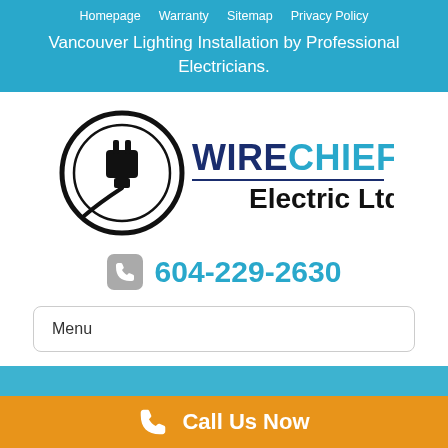Homepage   Warranty   Sitemap   Privacy Policy
Vancouver Lighting Installation by Professional Electricians.
[Figure (logo): WireChief Electric Ltd logo with a plug inside a circle and company name text]
604-229-2630
Menu
Call Us Now